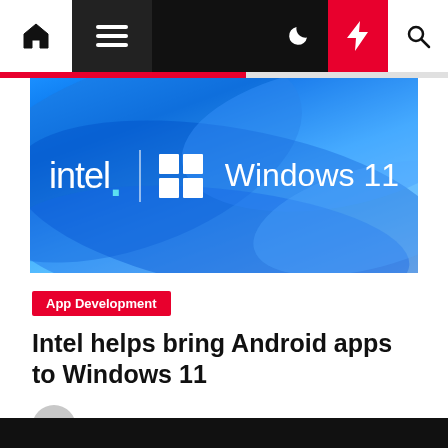Navigation bar with home, menu, moon, flash, and search icons
[Figure (screenshot): Intel and Windows 11 co-branding hero image on blue wave background]
App Development
Intel helps bring Android apps to Windows 11
Cecilia Nysing  1 year ago